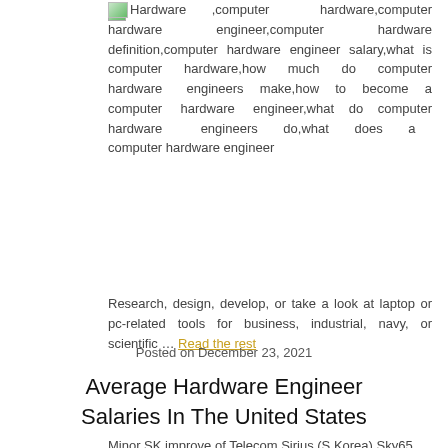[Figure (photo): Broken image placeholder with green gradient thumbnail for Hardware / computer hardware article image]
Hardware ,computer hardware,computer hardware engineer,computer hardware definition,computer hardware engineer salary,what is computer hardware,how much do computer hardware engineers make,how to become a computer hardware engineer,what do computer hardware engineers do,what does a computer hardware engineer
Research, design, develop, or take a look at laptop or pc-related tools for business, industrial, navy, or scientific … Read the rest
Posted on December 23, 2021
Average Hardware Engineer Salaries In The United States
Minor SK improve of Telecom Sirius (S.Korea) Sky65